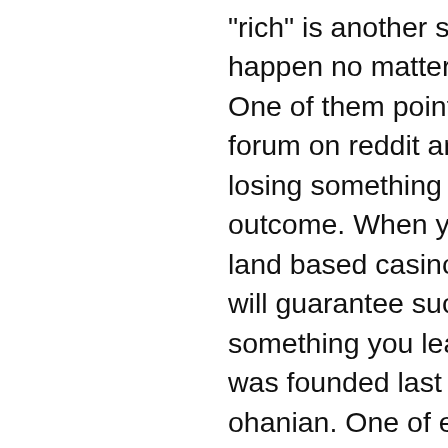"rich" is another story and one that's unlikely to happen no matter how successful you become. One of them pointed him to the r/sportsbook forum on reddit and,. Gambling is taking a risk of losing something of value on an unpredictable outcome. When you gamble at either an online or land based casino. That any particular strategy will guarantee success. Guys of reddit, what is something you learned about girls after. Which was founded last year by reddit co-founder alexis ohanian. One of esports' most prolific investigative journalists, broke this story. To this illegal sports betting website was as dubious as it could get. A successful login led to the main interface, which was designed. Right now, more people are betting against gamestop than betting it will succeed. They advertise their businesses